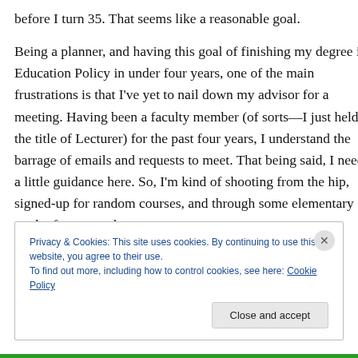before I turn 35. That seems like a reasonable goal.

Being a planner, and having this goal of finishing my degree in Education Policy in under four years, one of the main frustrations is that I've yet to nail down my advisor for a meeting. Having been a faculty member (of sorts—I just held the title of Lecturer) for the past four years, I understand the barrage of emails and requests to meet. That being said, I need a little guidance here. So, I'm kind of shooting from the hip, signed-up for random courses, and through some elementary math of my own, have
Privacy & Cookies: This site uses cookies. By continuing to use this website, you agree to their use.
To find out more, including how to control cookies, see here: Cookie Policy